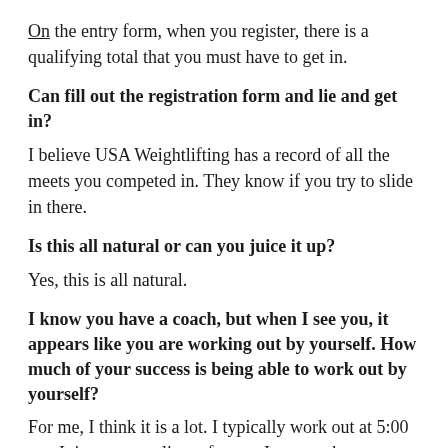On the entry form, when you register, there is a qualifying total that you must have to get in.
Can fill out the registration form and lie and get in?
I believe USA Weightlifting has a record of all the meets you competed in. They know if you try to slide in there.
Is this all natural or can you juice it up?
Yes, this is all natural.
I know you have a coach, but when I see you, it appears like you are working out by yourself. How much of your success is being able to work out by yourself?
For me, I think it is a lot. I typically work out at 5:00 am. It is a stress reliever for me. I can work out as hard as I need to and not worry about anything...